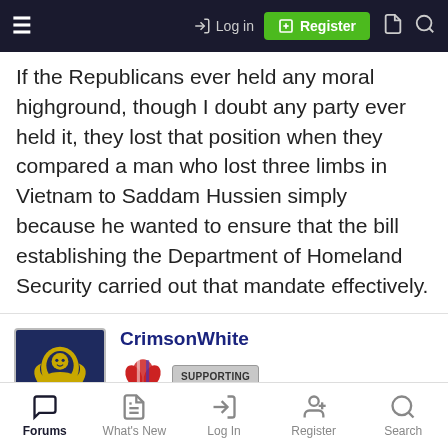Log in | Register
If the Republicans ever held any moral highground, though I doubt any party ever held it, they lost that position when they compared a man who lost three limbs in Vietnam to Saddam Hussien simply because he wanted to ensure that the bill establishing the Department of Homeland Security carried out that mandate effectively.
CrimsonWhite
*****istrator Emeritus
Forums | What's New | Log In | Register | Search